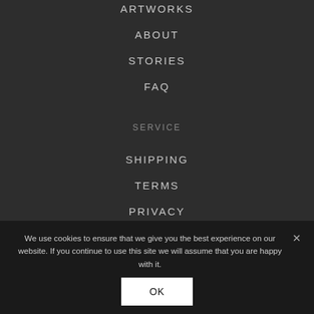ARTWORKS
ABOUT
STORIES
FAQ
SERVICE
SHIPPING
TERMS
PRIVACY
We use cookies to ensure that we give you the best experience on our website. If you continue to use this site we will assume that you are happy with it.
OK